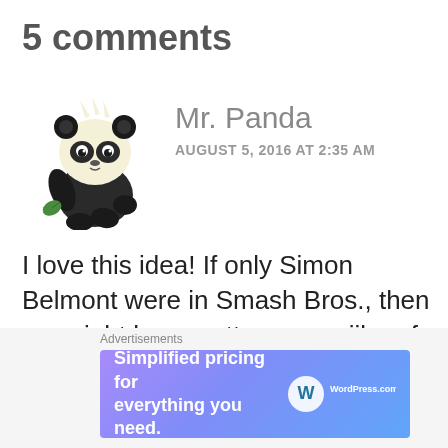5 comments
[Figure (illustration): Cartoon panda character avatar - black and white panda sitting, holding a green leaf, with spiky head fur]
Mr. Panda
AUGUST 5, 2016 AT 2:35 AM
I love this idea! If only Simon Belmont were in Smash Bros., then we might have gotten an amiibo of a Castlevania character. I’d like a Symphony of the Night figurine of Alucard or really of anyone from the series. Seeing that Castlevania: Judgment
Advertisements
[Figure (screenshot): WordPress.com advertisement banner: 'Simplified pricing for everything you need.' with WordPress.com logo on gradient purple-blue background]